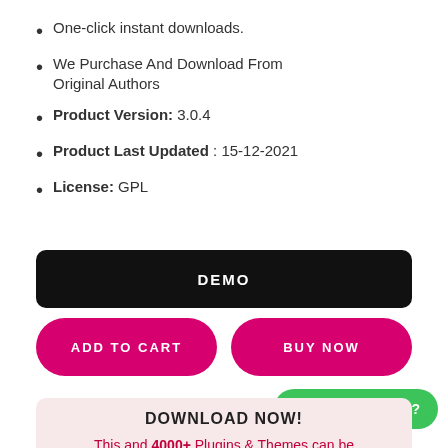One-click instant downloads.
We Purchase And Download From Original Authors
Product Version: 3.0.4
Product Last Updated : 15-12-2021
License: GPL
DEMO
ADD TO CART
BUY NOW
Need Support?
DOWNLOAD NOW!
This and 4000+ Plugins & Themes can be